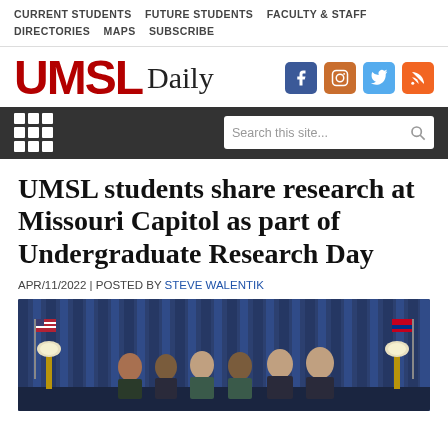CURRENT STUDENTS   FUTURE STUDENTS   FACULTY & STAFF   DIRECTORIES   MAPS   SUBSCRIBE
UMSL Daily
[Figure (logo): UMSL Daily logo with social media icons: Facebook, Instagram, Twitter, RSS]
[Figure (screenshot): Dark navigation bar with grid/list icon on left and search box reading 'Search this site...' on right]
UMSL students share research at Missouri Capitol as part of Undergraduate Research Day
APR/11/2022 | POSTED BY STEVE WALENTIK
[Figure (photo): Six people standing in a row in front of blue curtain draped stage with American and Missouri flags on either side, with gold floor lamps flanking them]